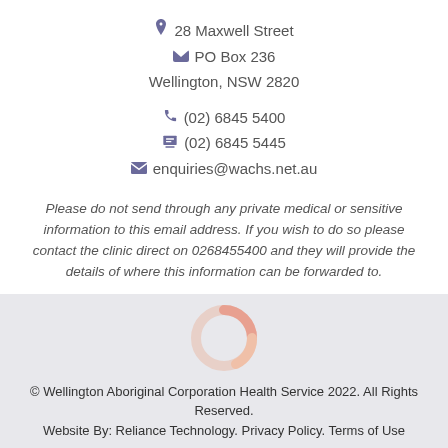28 Maxwell Street
PO Box 236
Wellington, NSW 2820
(02) 6845 5400
(02) 6845 5445
enquiries@wachs.net.au
Please do not send through any private medical or sensitive information to this email address. If you wish to do so please contact the clinic direct on 0268455400 and they will provide the details of where this information can be forwarded to.
[Figure (logo): Wellington Aboriginal Corporation Health Service donut-style logo in pink and peach tones]
© Wellington Aboriginal Corporation Health Service 2022. All Rights Reserved.
Website By: Reliance Technology. Privacy Policy. Terms of Use